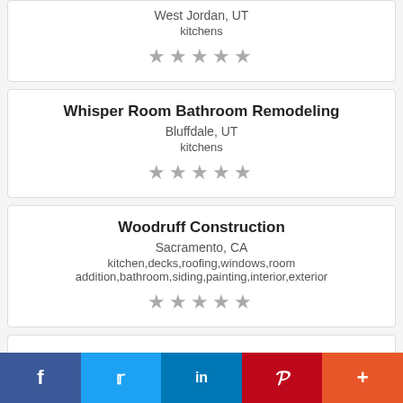West Jordan, UT
kitchens
★★★★★
Whisper Room Bathroom Remodeling
Bluffdale, UT
kitchens
★★★★★
Woodruff Construction
Sacramento, CA
kitchen,decks,roofing,windows,room addition,bathroom,siding,painting,interior,exterior
★★★★★
f  t  in  P  +